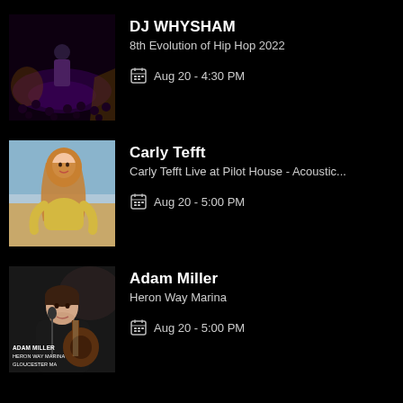DJ WHYSHAM
8th Evolution of Hip Hop 2022
Aug 20 - 4:30 PM
Carly Tefft
Carly Tefft Live at Pilot House - Acoustic...
Aug 20 - 5:00 PM
Adam Miller
Heron Way Marina
Aug 20 - 5:00 PM